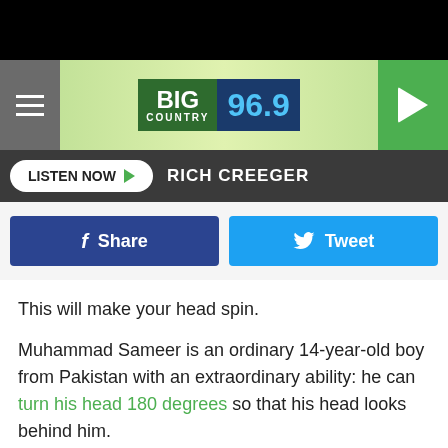[Figure (screenshot): Black top bar (decorative)]
BIG COUNTRY 96.9
LISTEN NOW  RICH CREEGER
[Figure (other): Share and Tweet social buttons]
This will make your head spin.
Muhammad Sameer is an ordinary 14-year-old boy from Pakistan with an extraordinary ability: he can turn his head 180 degrees so that his head looks behind him.
Yeah, it's all sorts of freaky.
Sameer says he was about six or seven when he saw an